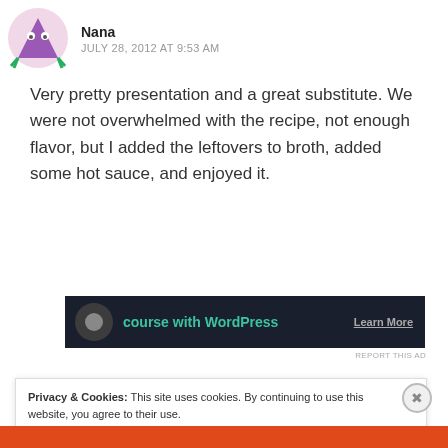[Figure (illustration): Cartoon avatar of a purple monster character with green limbs on a light pink circular background]
Nana
JULY 28, 2012 AT 9:53 AM
Very pretty presentation and a great substitute. We were not overwhelmed with the recipe, not enough flavor, but I added the leftovers to broth, added some hot sauce, and enjoyed it.
Reply
[Figure (screenshot): Dark advertisement banner showing 'course with WordPress' text in teal, with 'Learn More' link on the right]
REPORT THIS AD
Privacy & Cookies: This site uses cookies. By continuing to use this website, you agree to their use.
To find out more, including how to control cookies, see here: Cookie Policy
Close and accept